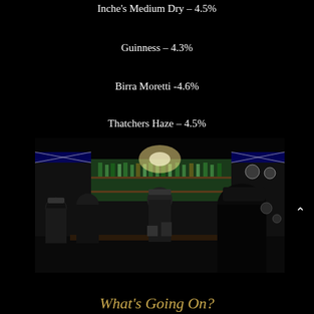Inche's Medium Dry – 4.5%
Guinness – 4.3%
Birra Moretti -4.6%
Thatchers Haze – 4.5%
[Figure (photo): People standing at a pub bar decorated with Union Jack flags, bottles, and various ornaments. Staff and customers in dark uniforms visible. Bar area with taps and decorations.]
What's Going On?